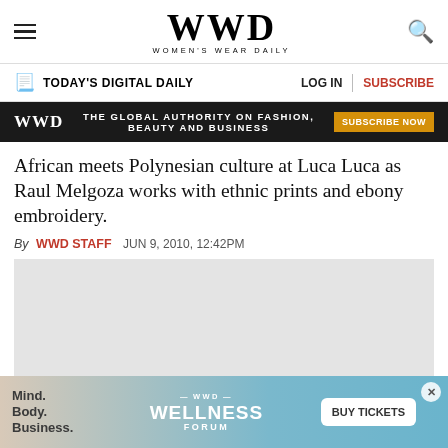WWD — Women's Wear Daily
TODAY'S DIGITAL DAILY   LOG IN   SUBSCRIBE
WWD  THE GLOBAL AUTHORITY ON FASHION, BEAUTY AND BUSINESS  SUBSCRIBE NOW
African meets Polynesian culture at Luca Luca as Raul Melgoza works with ethnic prints and ebony embroidery.
By WWD STAFF   JUN 9, 2010, 12:42PM
[Figure (photo): Placeholder image area for article photo]
[Figure (other): Bottom advertisement banner: Mind. Body. Business. — WWD WELLNESS FORUM — BUY TICKETS]